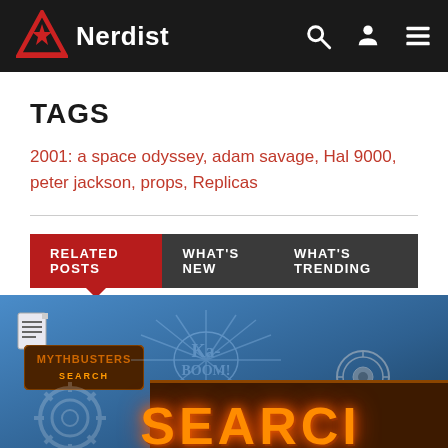Nerdist
TAGS
2001: a space odyssey, adam savage, Hal 9000, peter jackson, props, Replicas
RELATED POSTS | WHAT'S NEW | WHAT'S TRENDING
[Figure (screenshot): Mythbusters search related image with blue background, explosion graphic, HAL 9000 eye graphic, and illuminated SEARCH letters at bottom]